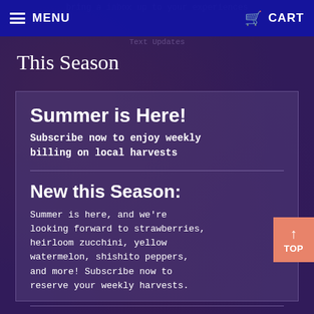MENU   CART
This Season
Summer is Here!
Subscribe now to enjoy weekly billing on local harvests
New this Season:
Summer is here, and we're looking forward to strawberries, heirloom zucchini, yellow watermelon, shishito peppers, and more! Subscribe now to reserve your weekly harvests.